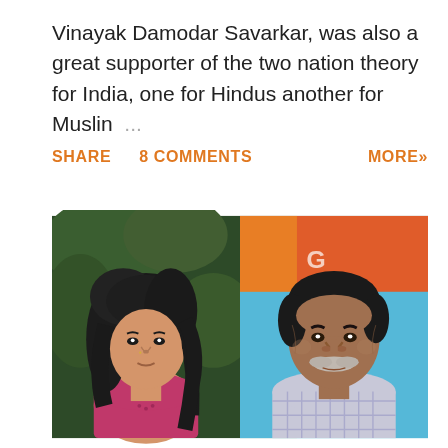Vinayak Damodar Savarkar, was also a great supporter of the two nation theory for India, one for Hindus another for Muslims ...
SHARE   8 COMMENTS   MORE»
[Figure (photo): Two portrait photographs side by side: on the left, a woman with long dark wavy hair wearing a pink top; on the right, an older man with a grey mustache wearing a checkered shirt, with a colorful background behind him.]